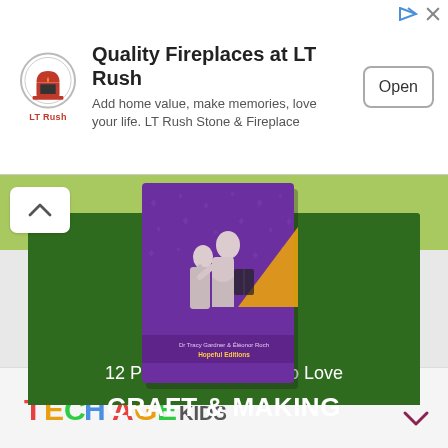[Figure (screenshot): Advertisement banner for LT Rush fireplaces with logo, text 'Quality Fireplaces at LT Rush', subtext 'Add home value, make memories, love your life. LT Rush Stone & Fireplace', and an Open button]
[Figure (illustration): Book cover promotional image on dark green background with light green bar at top. Shows book '12 Projects for Kids who Love CRAFT & MAKING' with illustrated book cover depicting children figures on purple background with heart patterns]
[Figure (logo): TECH AGE KIDS logo in colorful letters at bottom of page]